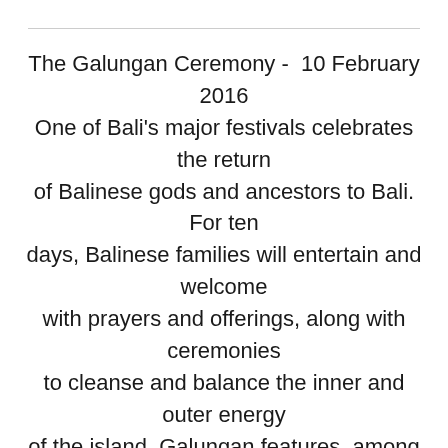The Galungan Ceremony -  10 February 2016 One of Bali's major festivals celebrates the return of Balinese gods and ancestors to Bali. For ten days, Balinese families will entertain and welcome with prayers and offerings, along with ceremonies to cleanse and balance the inner and outer energy of the island. Galungan features, among other things, barong dancing from temple to temple in the village. The festival symbolizes the victory of good over evil. The origin of Galungan is a mystery, but essentially it is believed to be the beginning of the week in which the gods and ancestors descend to earth, and good triumphs over evil. The holiday is celebrated by the fitting of 'penjor',